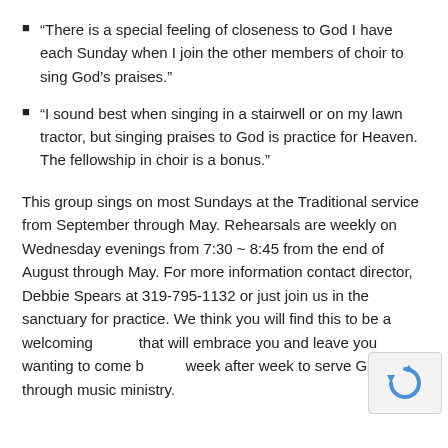“There is a special feeling of closeness to God I have each Sunday when I join the other members of choir to sing God’s praises.”
“I sound best when singing in a stairwell or on my lawn tractor, but singing praises to God is practice for Heaven. The fellowship in choir is a bonus.”
This group sings on most Sundays at the Traditional service from September through May. Rehearsals are weekly on Wednesday evenings from 7:30 ~ 8:45 from the end of August through May. For more information contact director, Debbie Spears at 319-795-1132 or just join us in the sanctuary for practice. We think you will find this to be a welcoming group that will embrace you and leave you wanting to come back week after week to serve God through music ministry.